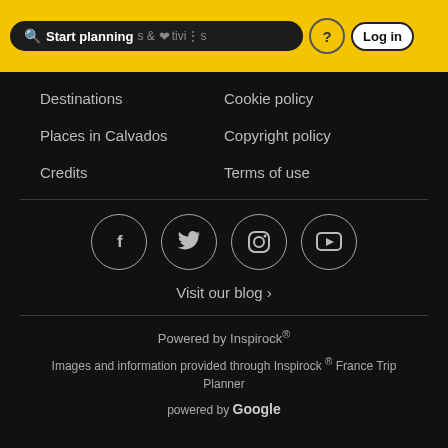Start planning — navigation bar with search, activities, help, and Log in
Destinations
Cookie policy
Places in Calvados
Copyright policy
Credits
Terms of use
[Figure (infographic): Four social media icons in circles: Facebook (f), Twitter (bird), Instagram (camera), YouTube (play button)]
Visit our blog ›
Powered by Inspirock®
Images and information provided through Inspirock ® France Trip Planner
powered by Google